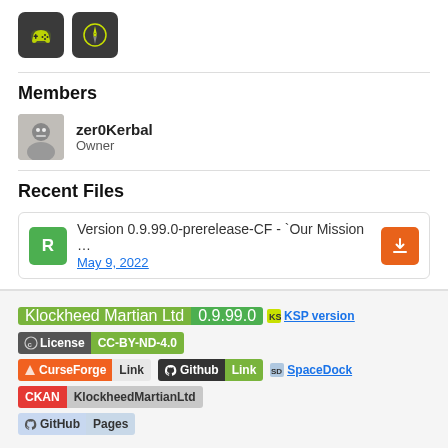[Figure (illustration): Two dark square icon buttons: a game controller icon and a compass/navigation icon, both with chartreuse/yellow-green icons on dark background]
Members
[Figure (photo): Avatar image of zer0Kerbal user, a small grayscale robot-like figure]
zer0Kerbal
Owner
Recent Files
Version 0.9.99.0-prerelease-CF - `Our Mission …
May 9, 2022
[Figure (infographic): Badge row: Klockheed Martian Ltd | 0.9.99.0 | KSP version link; License CC-BY-ND-4.0; CurseForge Link | Github Link | SpaceDock link; CKAN KlockheedMartianLtd; GitHub Pages]
Klockheed Martian Ltd (KML)